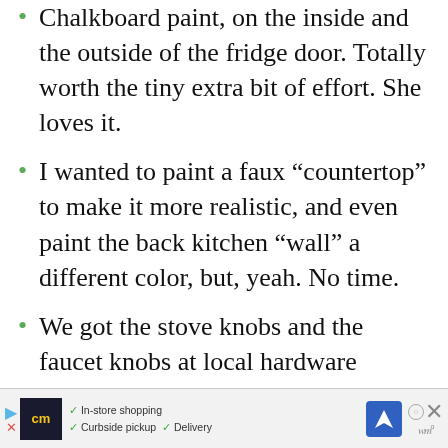Chalkboard paint, on the inside and the outside of the fridge door. Totally worth the tiny extra bit of effort. She loves it.
I wanted to paint a faux “countertop” to make it more realistic, and even paint the back kitchen “wall” a different color, but, yeah. No time.
We got the stove knobs and the faucet knobs at local hardware stores, making sure there weren’t any choking-hazard-size pieces that could come off. My guy screwed them on in a way that allows them to still turn. I … wish I
[Figure (screenshot): Advertisement banner at bottom of page showing a store logo 'cm' with checkmarks for In-store shopping, Curbside pickup, and Delivery options, with navigation arrow and close button.]